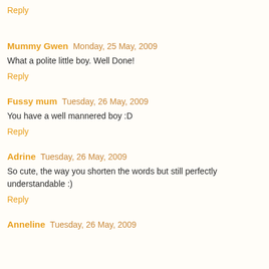Reply
Mummy Gwen  Monday, 25 May, 2009
What a polite little boy. Well Done!
Reply
Fussy mum  Tuesday, 26 May, 2009
You have a well mannered boy :D
Reply
Adrine  Tuesday, 26 May, 2009
So cute, the way you shorten the words but still perfectly understandable :)
Reply
Anneline  Tuesday, 26 May, 2009